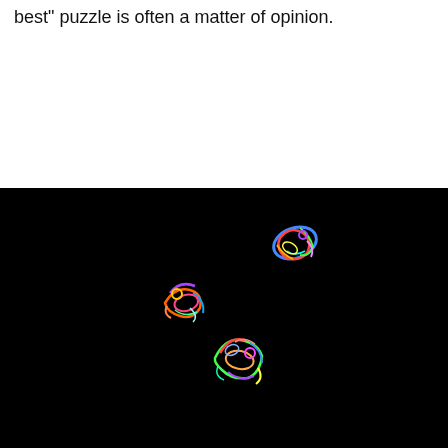best" puzzle is often a matter of opinion.
[Figure (illustration): Black background image showing three colorful protein or molecular structure renderings scattered across the field — one in the upper-right area, one in the middle-left, and one in the lower-center. Each structure is rendered with rainbow-colored ribbon/cartoon representation typical of protein 3D structure visualization.]